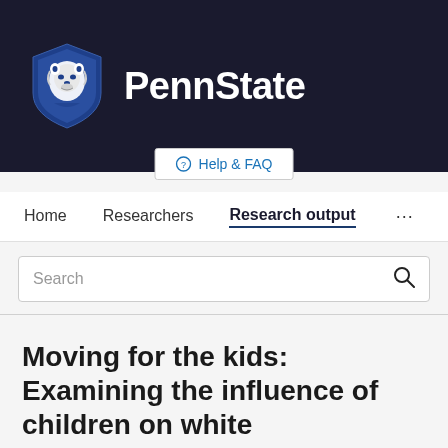[Figure (logo): Penn State shield logo with lion mascot in dark navy/blue colors, accompanied by 'PennState' text in white bold font on dark background]
Help & FAQ
Home   Researchers   Research output   ...
Search
Moving for the kids: Examining the influence of children on white residential segregation